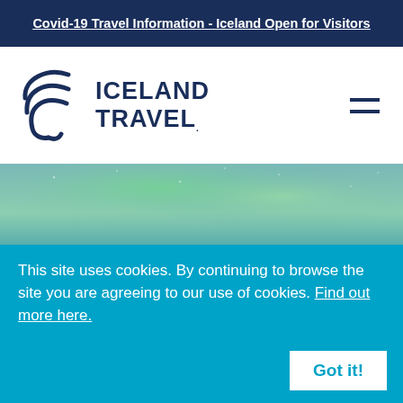Covid-19 Travel Information - Iceland Open for Visitors
[Figure (logo): Iceland Travel logo with swoosh icon and bold text reading ICELAND TRAVEL, plus hamburger menu icon on the right]
[Figure (photo): Aurora borealis / northern lights photo showing green hues against a teal-grey sky]
This site uses cookies. By continuing to browse the site you are agreeing to our use of cookies. Find out more here.
Got it!